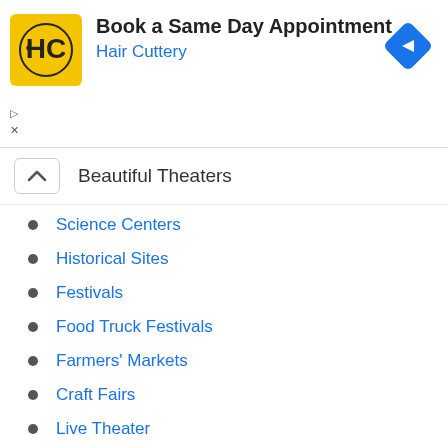[Figure (screenshot): Hair Cuttery advertisement banner with yellow logo, text 'Book a Same Day Appointment' and 'Hair Cuttery', and a blue diamond navigation icon]
Beautiful Theaters
Science Centers
Historical Sites
Festivals
Food Truck Festivals
Farmers' Markets
Craft Fairs
Live Theater
Breweries
Kid's Education Activities